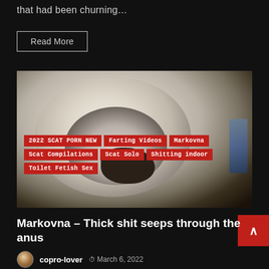that had been churning…
Read More
[Figure (photo): Close-up photo of a toilet bowl from above, showing white ceramic bowl interior with dark content visible at the bottom center, and a blue decorative element visible at the right edge. Red category tags overlaid at the bottom: 2022 SCAT PORN NEW, Farting Videos, Markovna, Scat Compilations, Scat Solo, Shitting indoor, Toilet Fetish Sex]
Markovna – Thick shit seeps through the anus
copro-lover   March 6, 2022